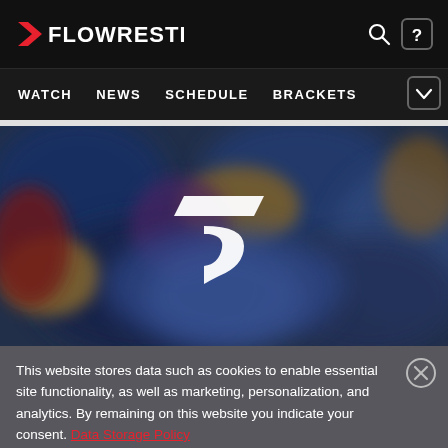FLOWRESTLING — navigation: WATCH, NEWS, SCHEDULE, BRACKETS
[Figure (screenshot): Blurred wrestling/sports crowd photo with large white Flowrestling F logo centered on the image]
This website stores data such as cookies to enable essential site functionality, as well as marketing, personalization, and analytics. By remaining on this website you indicate your consent. Data Storage Policy